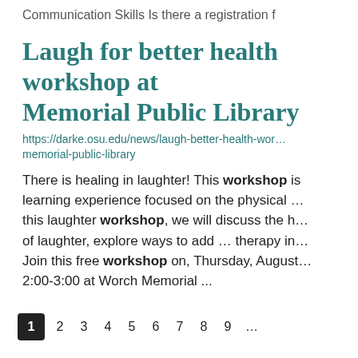Communication Skills Is there a registration f
Laugh for better health workshop at Memorial Public Library
https://darke.osu.edu/news/laugh-better-health-wor… memorial-public-library
There is healing in laughter! This workshop is a learning experience focused on the physical … this laughter workshop, we will discuss the h… of laughter, explore ways to add … therapy in… Join this free workshop on, Thursday, August… 2:00-3:00 at Worch Memorial ...
1 2 3 4 5 6 7 8 9 …